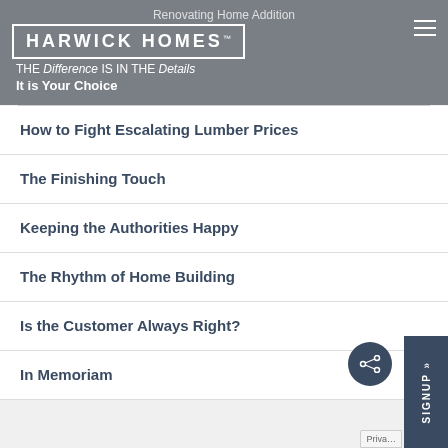HARWICK HOMES™ — THE Difference IS IN THE Details — It is Your Choice
How to Fight Escalating Lumber Prices
The Finishing Touch
Keeping the Authorities Happy
The Rhythm of Home Building
Is the Customer Always Right?
In Memoriam